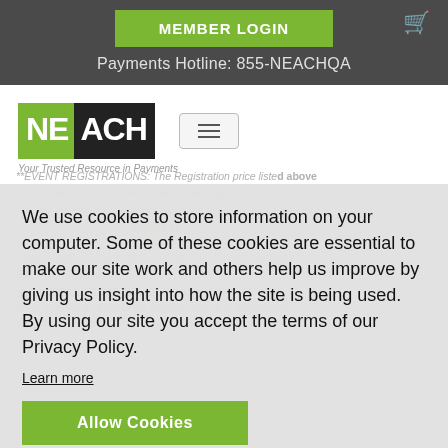MEMBER LOGIN | Payments Hotline: 855-NEACHQA
[Figure (logo): NEACH logo with green NE block and dark ACH block, tagline: Your Trusted Resource in Payments]
**EVENT REGISTRATIONS: The Registration price listed above includes one (1) registration for the Virtual Conference on June 30,202... *Virtual Conference for the price of $175, please contact info@... ...by April 22. P... ...out for guests... ...made. Check-in time is after 1:00 pm ET. Monday thru Saturda... ET. Foxwood's cancellation policy requires guestrooms to be ca... order to avoid a cancellation penalty. Failure to give proper n... the guest. A valid credit card number is necessary to avoid a...
We use cookies to store information on your computer. Some of these cookies are essential to make our site work and others help us improve by giving us insight into how the site is being used. By using our site you accept the terms of our Privacy Policy.
Learn more
Allow Cookies